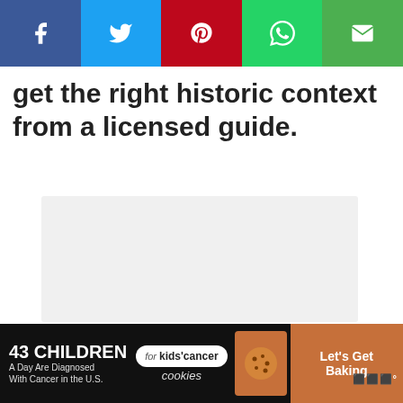[Figure (screenshot): Social media share bar with Facebook (blue), Twitter (light blue), Pinterest (red), WhatsApp (green), Email (green) buttons]
get the right historic context from a licensed guide.
[Figure (photo): Large light gray placeholder image area]
[Figure (infographic): Advertisement bar: '43 CHILDREN A Day Are Diagnosed With Cancer in the U.S.' with cookies for kids cancer logo and Let's Get Baking text]